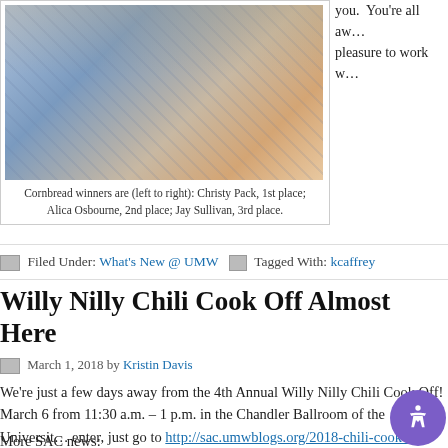[Figure (photo): Photo of three people at a cornbread competition, one holding a certificate.]
Cornbread winners are (left to right): Christy Pack, 1st place; Alica Osbourne, 2nd place; Jay Sullivan, 3rd place.
you.  You're all aw… pleasure to work w…
Filed Under: What's New @ UMW   Tagged With: kcaffrey
Willy Nilly Chili Cook Off Almost Here
March 1, 2018 by Kristin Davis
We're just a few days away from the 4th Annual Willy Nilly Chili Cook Off! March 6 from 11:30 a.m. – 1 p.m. in the Chandler Ballroom of the Universit… enter, just go to http://sac.umwblogs.org/2018-chili-cook-off-entry-form to c… Support your colleagues by arriving early to vote on the bes… d the b…
More SAC news: